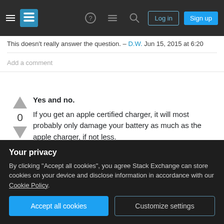[Figure (screenshot): Stack Exchange navigation bar with hamburger menu, logo, icons, Login and Sign up buttons]
This doesn't really answer the question. – D.W. Jun 15, 2015 at 6:20
Add a comment
Yes and no.
If you get an apple certified charger, it will most probably only damage your battery as much as the apple charger, if not less.
However, if you want to buy those cheap or even expensive chargers from a non certified producer, there is no telling what it might do to your phone
Your privacy
By clicking "Accept all cookies", you agree Stack Exchange can store cookies on your device and disclose information in accordance with our Cookie Policy.
Accept all cookies
Customize settings